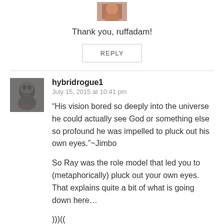[Figure (photo): Small avatar image partially visible at top of page]
Thank you, ruffadam!
REPLY
hybridrogue1
July 15, 2015 at 10:41 pm
[Figure (photo): Avatar image of a bronze or stone sculpture of a bearded face]
“His vision bored so deeply into the universe he could actually see God or something else so profound he was impelled to pluck out his own eyes.”~Jimbo
So Ray was the role model that led you to (metaphorically) pluck out your own eyes. That explains quite a bit of what is going down here…
)))((